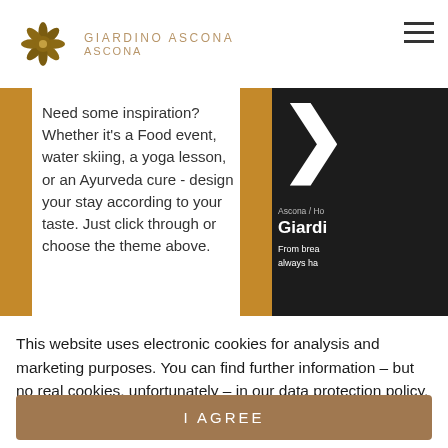GIARDINO ASCONA ASCONA
Need some inspiration? Whether it's a Food event, water skiing, a yoga lesson, or an Ayurveda cure - design your stay according to your taste. Just click through or choose the theme above.
[Figure (screenshot): Right panel with dark background showing a right-pointing chevron arrow, breadcrumb 'Ascona / Ho', title 'Giardi', and partial text 'From brea always ha']
This website uses electronic cookies for analysis and marketing purposes. You can find further information – but no real cookies, unfortunately – in our data protection policy.
I AGREE